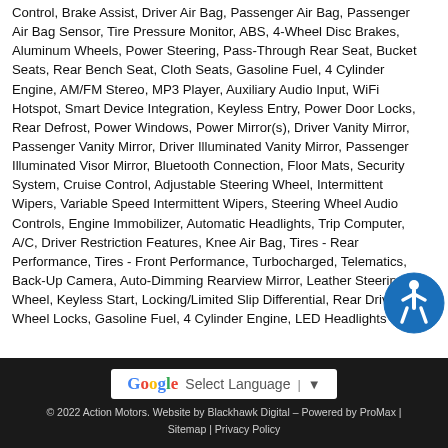Control, Brake Assist, Driver Air Bag, Passenger Air Bag, Passenger Air Bag Sensor, Tire Pressure Monitor, ABS, 4-Wheel Disc Brakes, Aluminum Wheels, Power Steering, Pass-Through Rear Seat, Bucket Seats, Rear Bench Seat, Cloth Seats, Gasoline Fuel, 4 Cylinder Engine, AM/FM Stereo, MP3 Player, Auxiliary Audio Input, WiFi Hotspot, Smart Device Integration, Keyless Entry, Power Door Locks, Rear Defrost, Power Windows, Power Mirror(s), Driver Vanity Mirror, Passenger Vanity Mirror, Driver Illuminated Vanity Mirror, Passenger Illuminated Visor Mirror, Bluetooth Connection, Floor Mats, Security System, Cruise Control, Adjustable Steering Wheel, Intermittent Wipers, Variable Speed Intermittent Wipers, Steering Wheel Audio Controls, Engine Immobilizer, Automatic Headlights, Trip Computer, A/C, Driver Restriction Features, Knee Air Bag, Tires - Rear Performance, Tires - Front Performance, Turbocharged, Telematics, Back-Up Camera, Auto-Dimming Rearview Mirror, Leather Steering Wheel, Keyless Start, Locking/Limited Slip Differential, Rear Drive, Wheel Locks, Gasoline Fuel, 4 Cylinder Engine, LED Headlights
[Figure (logo): Action MotorsTX.com logo with Texas flag motif on grey background]
Select Language
© 2022 Action Motors. Website by Blackhawk Digital – Powered by ProMax | Sitemap | Privacy Policy